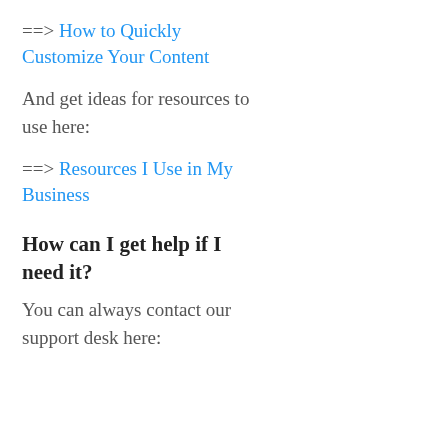==> How to Quickly Customize Your Content
And get ideas for resources to use here:
==> Resources I Use in My Business
How can I get help if I need it?
You can always contact our support desk here: